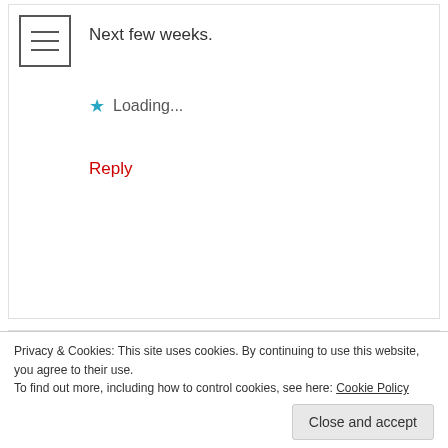Next few weeks.
Loading...
Reply
Shelley says:
May 22, 2017 at 23:59
I'm really interested in the dynamic in the work place between a (I'm not sure the type but I think mid range if not elite) narc
Privacy & Cookies: This site uses cookies. By continuing to use this website, you agree to their use.
To find out more, including how to control cookies, see here: Cookie Policy
Close and accept